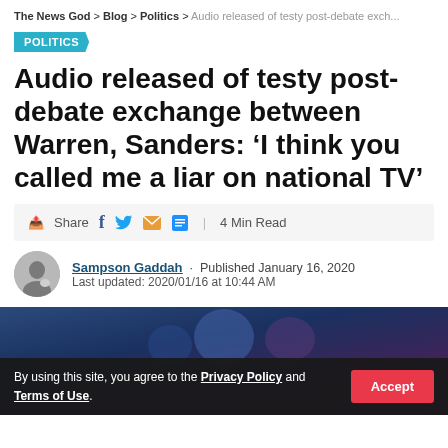The News God > Blog > Politics > Audio released of testy post-debate exch...
POLITICS
Audio released of testy post-debate exchange between Warren, Sanders: ‘I think you called me a liar on national TV’
Share | 4 Min Read
Sampson Gaddah · Published January 16, 2020
Last updated: 2020/01/16 at 10:44 AM
[Figure (photo): Photo of debate stage with dark background showing people, with a cookie consent bar overlay reading: By using this site, you agree to the Privacy Policy and Terms of Use. Accept button.]